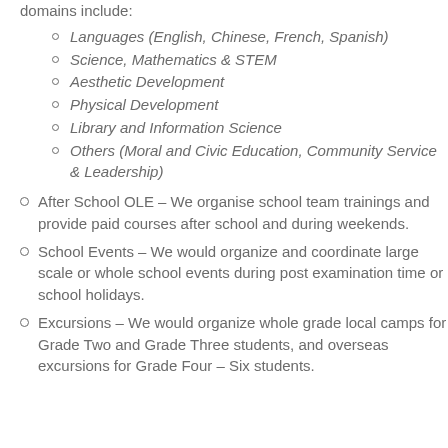domains include:
Languages (English, Chinese, French, Spanish)
Science, Mathematics & STEM
Aesthetic Development
Physical Development
Library and Information Science
Others (Moral and Civic Education, Community Service & Leadership)
After School OLE – We organise school team trainings and provide paid courses after school and during weekends.
School Events – We would organize and coordinate large scale or whole school events during post examination time or school holidays.
Excursions – We would organize whole grade local camps for Grade Two and Grade Three students, and overseas excursions for Grade Four – Six students.